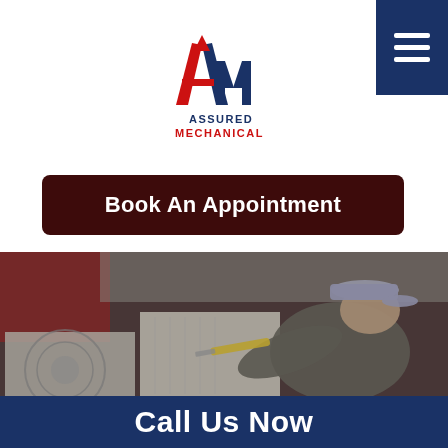[Figure (logo): Assured Mechanical logo — stylized 'AM' letters in red and blue with company name below]
Book An Appointment
[Figure (photo): HVAC technician wearing a gray cap and uniform, leaning over and using a screwdriver to service an air conditioning unit on a rooftop, with red building and metal roof in background. Image has a dark overlay.]
Call Us Now